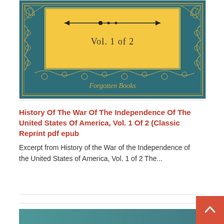[Figure (illustration): Book cover of 'History Of The War Of The Independence Of The United States Of America, Vol. 1 of 2' published by Forgotten Books. Deep teal/dark blue cover with ornate gold floral decorative border. Central yellow/gold rectangular panel with decorative arrow ornament and text 'Vol. 1 of 2'. 'Forgotten Books' publisher name in decorative script at bottom.]
History Of The War Of The Independence Of The United States Of America, Vol. 1 Of 2 (Classic Reprint pdf epub
Excerpt from History of the War of the Independence of the United States of America, Vol. 1 of 2 The...